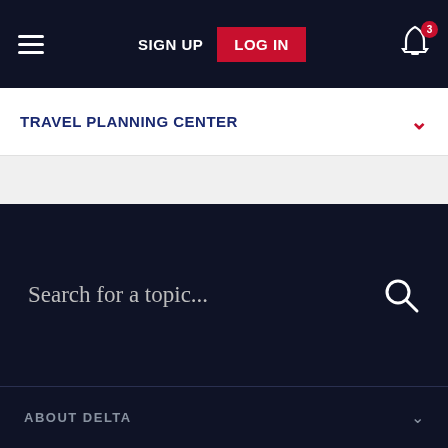SIGN UP  LOG IN  3
TRAVEL PLANNING CENTER
Search for a topic...
ABOUT DELTA
By continuing to browse, you consent to our use of cookies. To know more please refer to our Cookie and Privacy Policies.